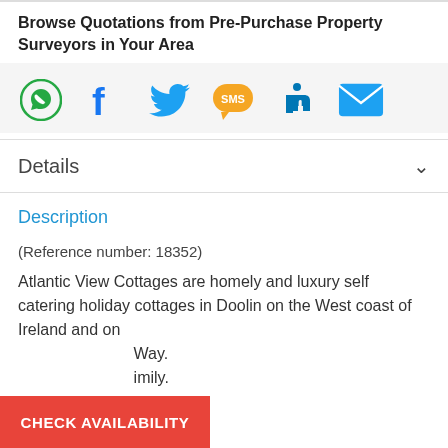Browse Quotations from Pre-Purchase Property Surveyors in Your Area
[Figure (infographic): Social sharing icons: WhatsApp (green), Facebook (blue), Twitter (blue), SMS (orange), LinkedIn (blue), Email (blue)]
Details
Description
(Reference number: 18352)
Atlantic View Cottages are homely and luxury self catering holiday cottages in Doolin on the West coast of Ireland and on ...Way. ...imily.
CHECK AVAILABILITY